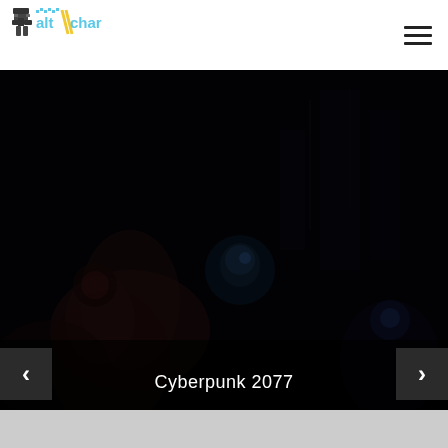AltChar
[Figure (screenshot): Dark cyberpunk game screenshot showing a dimly lit scene with figures in a dark environment, from Cyberpunk 2077]
Cyberpunk 2077